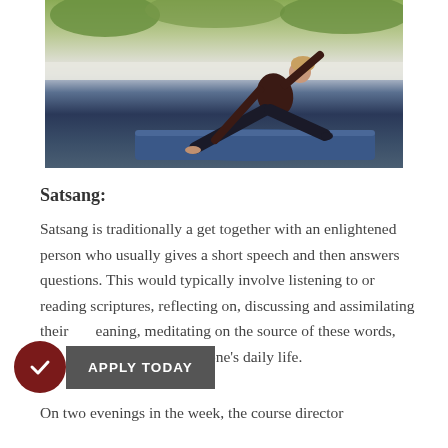[Figure (photo): Person performing a yoga pose (side lunge/stretch) on a blue yoga mat on an outdoor tiled terrace with green foliage in background]
Satsang:
Satsang is traditionally a get together with an enlightened person who usually gives a short speech and then answers questions. This would typically involve listening to or reading scriptures, reflecting on, discussing and assimilating their meaning, meditating on the source of these words, and bringing this meaning into one's daily life. On two evenings in the week, the course director